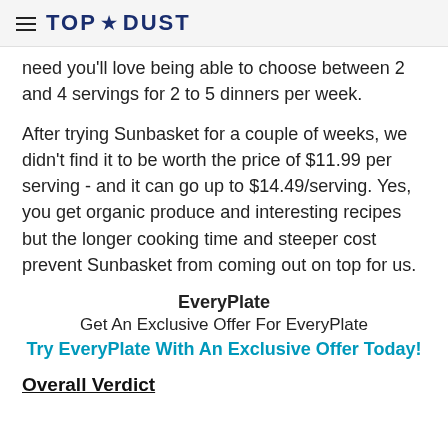TOP★DUST
need you'll love being able to choose between 2 and 4 servings for 2 to 5 dinners per week.
After trying Sunbasket for a couple of weeks, we didn't find it to be worth the price of $11.99 per serving - and it can go up to $14.49/serving. Yes, you get organic produce and interesting recipes but the longer cooking time and steeper cost prevent Sunbasket from coming out on top for us.
EveryPlate
Get An Exclusive Offer For EveryPlate
Try EveryPlate With An Exclusive Offer Today!
Overall Verdict